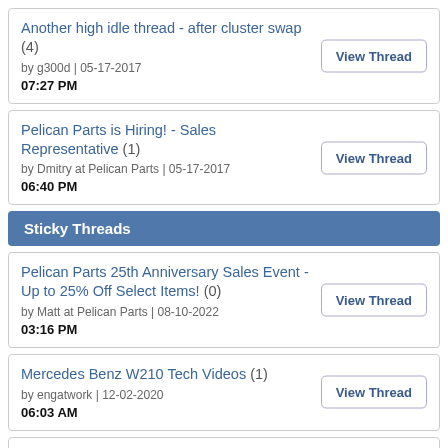Another high idle thread - after cluster swap (4) by g300d | 05-17-2017 07:27 PM
Pelican Parts is Hiring! - Sales Representative (1) by Dmitry at Pelican Parts | 05-17-2017 06:40 PM
Sticky Threads
Pelican Parts 25th Anniversary Sales Event - Up to 25% Off Select Items! (0) by Matt at Pelican Parts | 08-10-2022 03:16 PM
Mercedes Benz W210 Tech Videos (1) by engatwork | 12-02-2020 06:03 AM
Mercedes Benz W124 DIY Tech Videos (0) by Gianni at Pelican Parts | 11-05-2020 07:51 PM